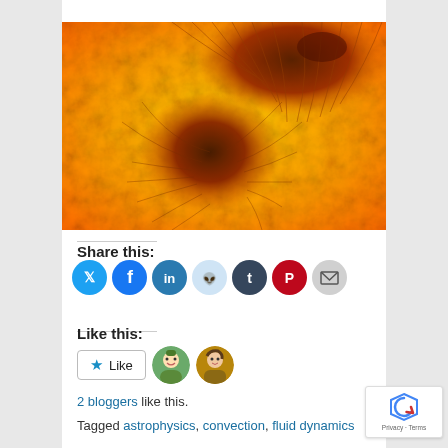[Figure (photo): Close-up photograph of the sun's surface showing sunspots and solar granulation, with orange and yellow textures and dark reddish-brown sunspot regions]
Share this:
[Figure (infographic): Row of social media share buttons: Twitter, Facebook, LinkedIn, Reddit, Tumblr, Pinterest, and Email icons as colored circles]
Like this:
Like
2 bloggers like this.
Tagged astrophysics, convection, fluid dynamics